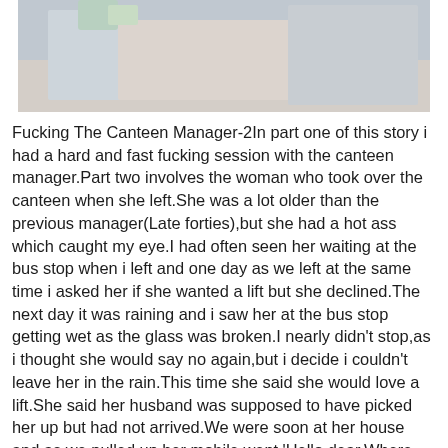[Figure (photo): Partial photo of a person wearing a blue garment, cropped at the top of the page.]
Fucking The Canteen Manager-2In part one of this story i had a hard and fast fucking session with the canteen manager.Part two involves the woman who took over the canteen when she left.She was a lot older than the previous manager(Late forties),but she had a hot ass which caught my eye.I had often seen her waiting at the bus stop when i left and one day as we left at the same time i asked her if she wanted a lift but she declined.The next day it was raining and i saw her at the bus stop getting wet as the glass was broken.I nearly didn't stop,as i thought she would say no again,but i decide i couldn't leave her in the rain.This time she said she would love a lift.She said her husband was supposed to have picked her up but had not arrived.We were soon at her house and as we pulled up her mobile went.'Hello dear.Where were you?.You